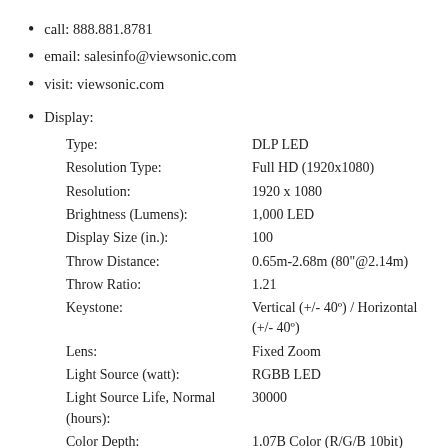call: 888.881.8781
email: salesinfo@viewsonic.com
visit: viewsonic.com
Display:
| Attribute | Value |
| --- | --- |
| Type: | DLP LED |
| Resolution Type: | Full HD (1920x1080) |
| Resolution: | 1920 x 1080 |
| Brightness (Lumens): | 1,000 LED |
| Display Size (in.): | 100 |
| Throw Distance: | 0.65m-2.68m (80"@2.14m) |
| Throw Ratio: | 1.21 |
| Keystone: | Vertical (+/- 40º) / Horizontal (+/- 40º) |
| Lens: | Fixed Zoom |
| Light Source (watt): | RGBB LED |
| Light Source Life, Normal (hours): | 30000 |
| Color Depth: | 1.07B Color (R/G/B 10bit) |
| Dynamic Contrast Ratio: | 3,000,000:1 |
| Aspect Ratio: | 16:9 |